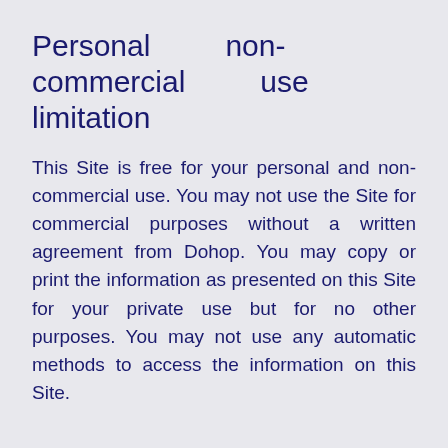Personal non-commercial use limitation
This Site is free for your personal and non-commercial use. You may not use the Site for commercial purposes without a written agreement from Dohop. You may copy or print the information as presented on this Site for your private use but for no other purposes. You may not use any automatic methods to access the information on this Site.
Connecting flights
It is up to you to create connections by purchasing the required flights individually. If you decide to use a flight connection found by this Site it is your